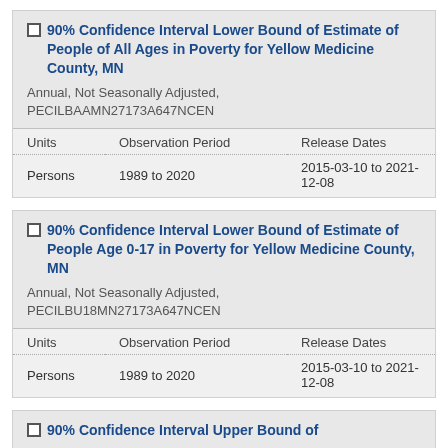| Units | Observation Period | Release Dates |
| --- | --- | --- |
| Persons | 1989 to 2020 | 2015-03-10 to 2021-12-08 |
| Units | Observation Period | Release Dates |
| --- | --- | --- |
| Persons | 1989 to 2020 | 2015-03-10 to 2021-12-08 |
90% Confidence Interval Upper Bound of